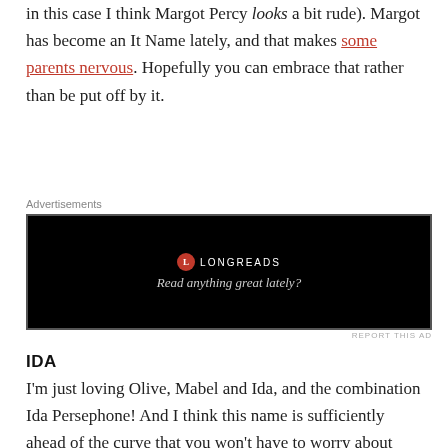in this case I think Margot Percy looks a bit rude). Margot has become an It Name lately, and that makes some parents nervous. Hopefully you can embrace that rather than be put off by it.
Advertisements
[Figure (other): Longreads advertisement banner on black background with red circular logo and text 'Read anything great lately?']
REPORT THIS AD
IDA
I'm just loving Olive, Mabel and Ida, and the combination Ida Persephone! And I think this name is sufficiently ahead of the curve that you won't have to worry about other little Idas popping up all over the place. Jake went off this name before, so here's hoping he has a change of heart.
VIOLET
Very pretty, although possibly a bit too much on trend for your complete comfort. Also I remember last time